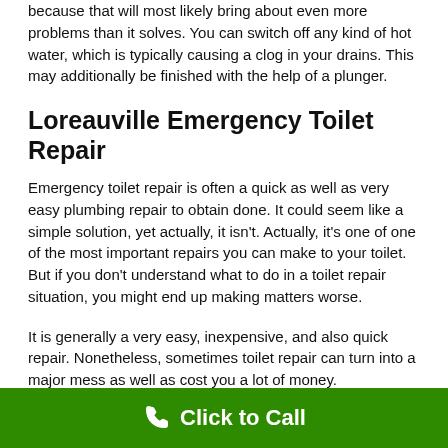because that will most likely bring about even more problems than it solves. You can switch off any kind of hot water, which is typically causing a clog in your drains. This may additionally be finished with the help of a plunger.
Loreauville Emergency Toilet Repair
Emergency toilet repair is often a quick as well as very easy plumbing repair to obtain done. It could seem like a simple solution, yet actually, it isn't. Actually, it's one of one of the most important repairs you can make to your toilet. But if you don't understand what to do in a toilet repair situation, you might end up making matters worse.
It is generally a very easy, inexpensive, and also quick repair. Nonetheless, sometimes toilet repair can turn into a major mess as well as cost you a lot of money.
Click to Call